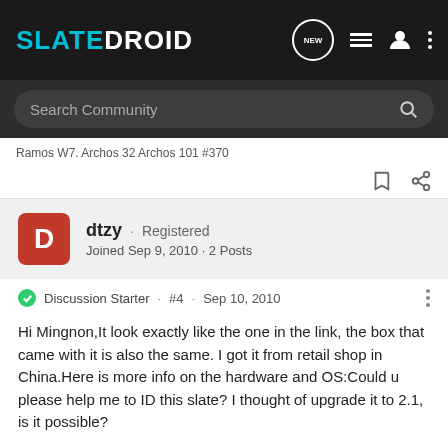SLATEDROID
Search Community
Ramos W7. Archos 32 Archos 101 #370
dtzy · Registered
Joined Sep 9, 2010 · 2 Posts
Discussion Starter · #4 · Sep 10, 2010
Hi Mingnon,It look exactly like the one in the link, the box that came with it is also the same. I got it from retail shop in China.Here is more info on the hardware and OS:Could u please help me to ID this slate? I thought of upgrade it to 2.1, is it possible?